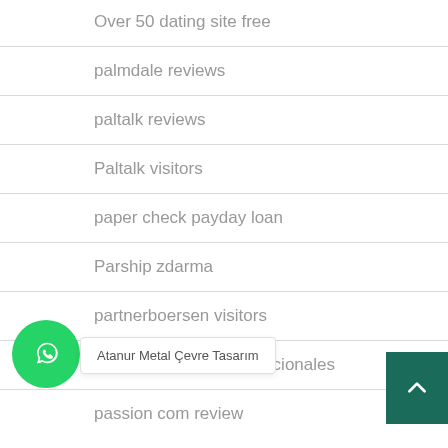Over 50 dating site free
palmdale reviews
paltalk reviews
Paltalk visitors
paper check payday loan
Parship zdarma
partnerboersen visitors
passion Codigos promocionales
passion com review
Atanur Metal Çevre Tasarım